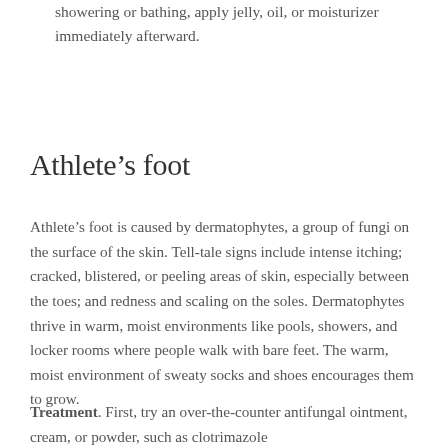showering or bathing, apply jelly, oil, or moisturizer immediately afterward.
Athlete’s foot
Athlete’s foot is caused by dermatophytes, a group of fungi on the surface of the skin. Tell-tale signs include intense itching; cracked, blistered, or peeling areas of skin, especially between the toes; and redness and scaling on the soles. Dermatophytes thrive in warm, moist environments like pools, showers, and locker rooms where people walk with bare feet. The warm, moist environment of sweaty socks and shoes encourages them to grow.
Treatment. First, try an over-the-counter antifungal ointment, cream, or powder, such as clotrimazole